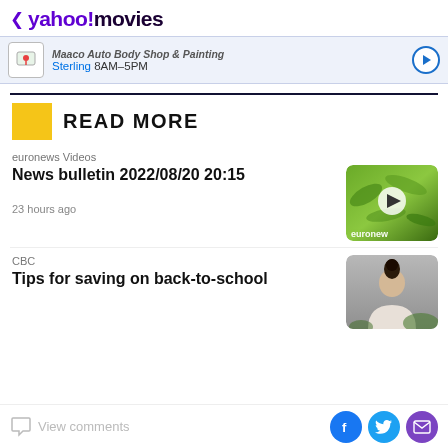< yahoo!movies
[Figure (screenshot): Advertisement banner showing Maaco Auto Body Shop & Painting in Sterling, 8AM-5PM with map icon and navigation arrow button]
READ MORE
euronews Videos
News bulletin 2022/08/20 20:15
[Figure (photo): Euronews video thumbnail showing green foliage/cannabis plants with play button and euronews logo]
23 hours ago
CBC
Tips for saving on back-to-school
[Figure (photo): CBC video thumbnail showing a person with dark hair tied up]
View comments